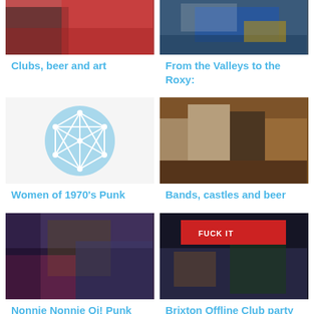[Figure (photo): Photo of people, reddish tones, partial crop at top]
Clubs, beer and art
[Figure (photo): Photo of a classic car, blue tones, partial crop at top]
From the Valleys to the Roxy:
[Figure (illustration): Light blue circle with white geometric network/globe icon]
Women of 1970's Punk
[Figure (photo): Photo of people dancing in a bar/club, warm tones]
Bands, castles and beer
[Figure (photo): Photo of people at a punk/music event, dark tones]
Nonnie Nonnie Oi! Punk Morris
[Figure (photo): Photo of people at a club/party with a red scarf saying FUCK IT]
Brixton Offline Club party night